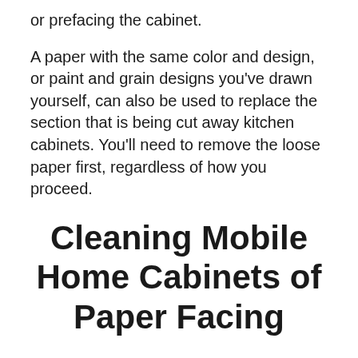or prefacing the cabinet.
A paper with the same color and design, or paint and grain designs you've drawn yourself, can also be used to replace the section that is being cut away kitchen cabinets. You'll need to remove the loose paper first, regardless of how you proceed.
Cleaning Mobile Home Cabinets of Paper Facing
Using an Exacto knife, carefully cut away the loose paper without risking damaging the MDF. Keeping the cut square and cutting